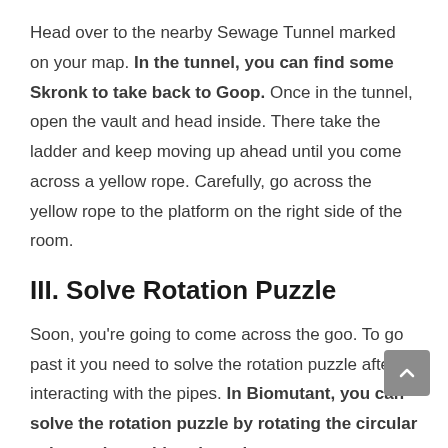Head over to the nearby Sewage Tunnel marked on your map. In the tunnel, you can find some Skronk to take back to Goop. Once in the tunnel, open the vault and head inside. There take the ladder and keep moving up ahead until you come across a yellow rope. Carefully, go across the yellow rope to the platform on the right side of the room.
III. Solve Rotation Puzzle
Soon, you're going to come across the goo. To go past it you need to solve the rotation puzzle after interacting with the pipes. In Biomutant, you can solve the rotation puzzle by rotating the circular valve and matching the colors on